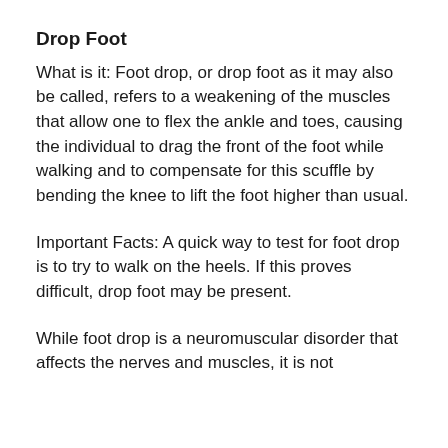Drop Foot
What is it: Foot drop, or drop foot as it may also be called, refers to a weakening of the muscles that allow one to flex the ankle and toes, causing the individual to drag the front of the foot while walking and to compensate for this scuffle by bending the knee to lift the foot higher than usual.
Important Facts: A quick way to test for foot drop is to try to walk on the heels. If this proves difficult, drop foot may be present.
While foot drop is a neuromuscular disorder that affects the nerves and muscles, it is not actually a disease in itself but rather a symptom